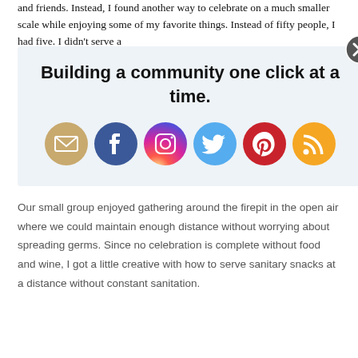and friends. Instead, I found another way to celebrate on a much smaller scale while enjoying some of my favorite things. Instead of fifty people, I had five. I didn't serve a
[Figure (infographic): Popup overlay with text 'Building a community one click at a time.' and social media icons for email, Facebook, Instagram, Twitter, Pinterest, and RSS. A close (X) button is in the top-right corner.]
Our small group enjoyed gathering around the firepit in the open air where we could maintain enough distance without worrying about spreading germs. Since no celebration is complete without food and wine, I got a little creative with how to serve sanitary snacks at a distance without constant sanitation.